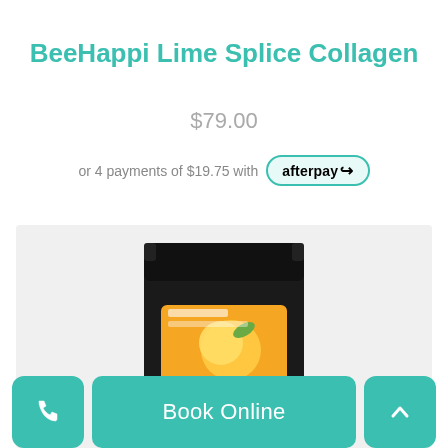BeeHappi Lime Splice Collagen
$79.00
or 4 payments of $19.75 with afterpay
[Figure (photo): Black resealable pouch product bag for BeeHappi Lime Splice Collagen with orange/citrus label on a light grey background]
Book Online